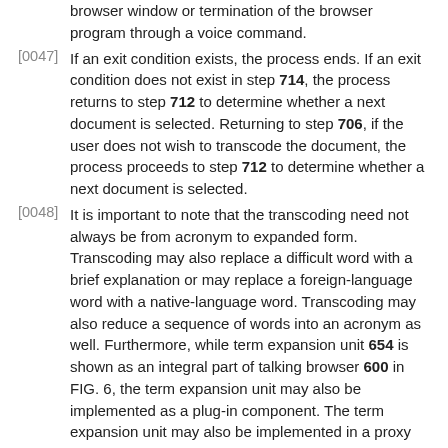browser window or termination of the browser program through a voice command.
[0047] If an exit condition exists, the process ends. If an exit condition does not exist in step 714, the process returns to step 712 to determine whether a next document is selected. Returning to step 706, if the user does not wish to transcode the document, the process proceeds to step 712 to determine whether a next document is selected.
[0048] It is important to note that the transcoding need not always be from acronym to expanded form. Transcoding may also replace a difficult word with a brief explanation or may replace a foreign-language word with a native-language word. Transcoding may also reduce a sequence of words into an acronym as well. Furthermore, while term expansion unit 654 is shown as an integral part of talking browser 600 in FIG. 6, the term expansion unit may also be implemented as a plug-in component. The term expansion unit may also be implemented in a proxy server running on the same machine that the browser is running or on a server machine.